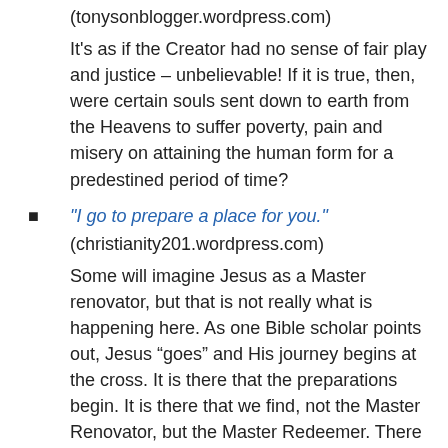(tonysonblogger.wordpress.com)
It’s as if the Creator had no sense of fair play and justice – unbelievable!  If it is true, then, were certain souls sent down to earth from the Heavens to suffer poverty, pain and misery on attaining the human form for a predestined period of time?
“I go to prepare a place for you.” (christianity201.wordpress.com) Some will imagine Jesus as a Master renovator, but that is not really what is happening here. As one Bible scholar points out, Jesus “goes” and His journey begins at the cross. It is there that the preparations begin. It is there that we find, not the Master Renovator, but the Master Redeemer. There is wood and there are nails, but this project is like nothing Mike Holmes has ever tackled. This is not about Jesus